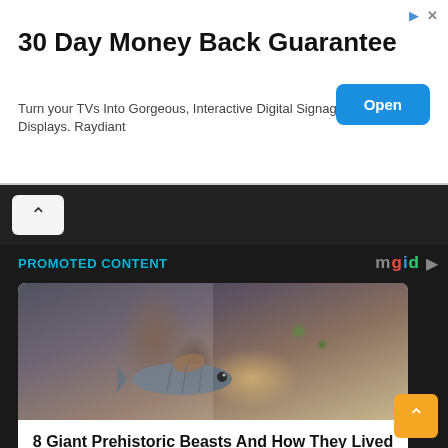30 Day Money Back Guarantee
Turn your TVs Into Gorgeous, Interactive Digital Signage Displays. Raydiant
PROMOTED CONTENT
[Figure (photo): Photo of a prehistoric fish model/figurine near driftwood and sand, with green plants in the background.]
8 Giant Prehistoric Beasts And How They Lived
Brainberries